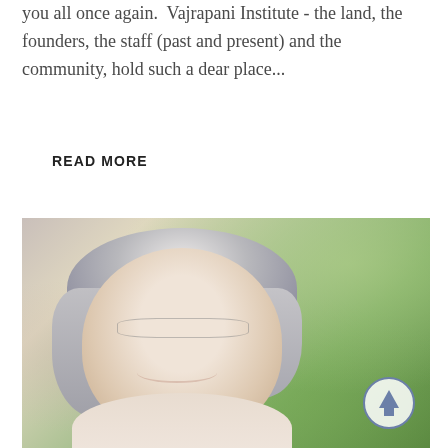you all once again.  Vajrapani Institute - the land, the founders, the staff (past and present) and the community, hold such a dear place...
READ MORE
[Figure (photo): Portrait photo of a woman with short gray hair and glasses, smiling, outdoors with green foliage in the background. A circular scroll-up button overlays the bottom-right corner.]